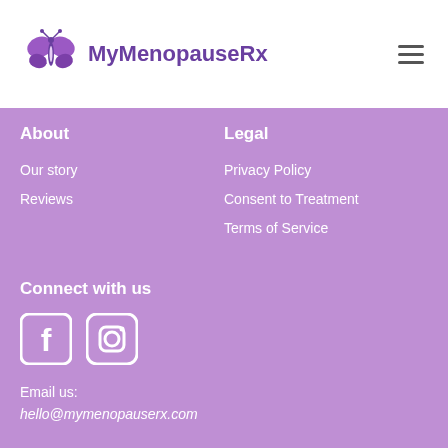[Figure (logo): MyMenopauseRx butterfly logo with purple butterfly icon and bold purple text 'MyMenopauseRx']
About
Our story
Reviews
Legal
Privacy Policy
Consent to Treatment
Terms of Service
Connect with us
[Figure (other): Facebook and Instagram social media icons in white on purple background]
Email us:
hello@mymenopauserx.com